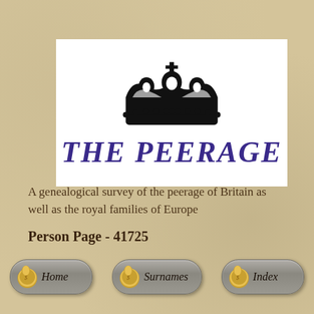[Figure (logo): The Peerage logo: black royal crown above 'THE PEERAGE' text in bold purple italic serif font on white background]
A genealogical survey of the peerage of Britain as well as the royal families of Europe
Person Page - 41725
[Figure (other): Navigation bar with three buttons: Home, Surnames, Index — each with a gold coin/seal icon on a grey pill-shaped button]